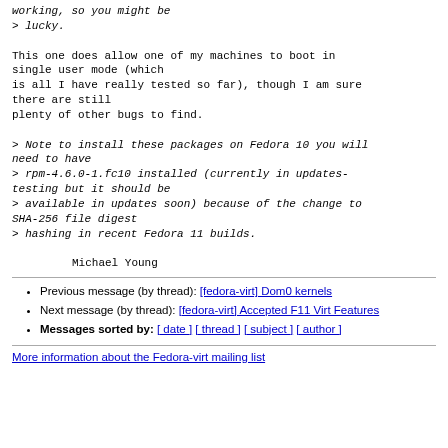working, so you might be
> lucky.

This one does allow one of my machines to boot in single user mode (which
is all I have really tested so far), though I am sure there are still
plenty of other bugs to find.

> Note to install these packages on Fedora 10 you will need to have
> rpm-4.6.0-1.fc10 installed (currently in updates-testing but it should be
> available in updates soon) because of the change to SHA-256 file digest
> hashing in recent Fedora 11 builds.

        Michael Young
Previous message (by thread): [fedora-virt] Dom0 kernels
Next message (by thread): [fedora-virt] Accepted F11 Virt Features
Messages sorted by: [ date ] [ thread ] [ subject ] [ author ]
More information about the Fedora-virt mailing list